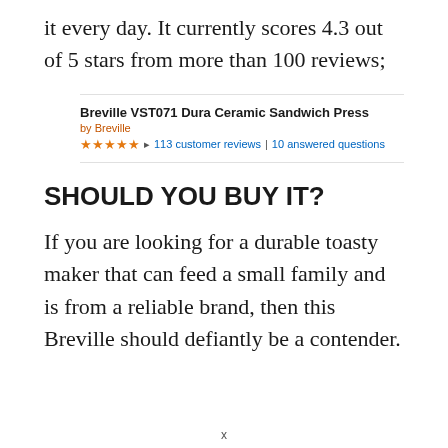it every day. It currently scores 4.3 out of 5 stars from more than 100 reviews;
[Figure (screenshot): Amazon product listing screenshot showing 'Breville VST071 Dura Ceramic Sandwich Press' by Breville, with 4.5 star rating, 113 customer reviews, 10 answered questions]
SHOULD YOU BUY IT?
If you are looking for a durable toasty maker that can feed a small family and is from a reliable brand, then this Breville should defiantly be a contender.
x